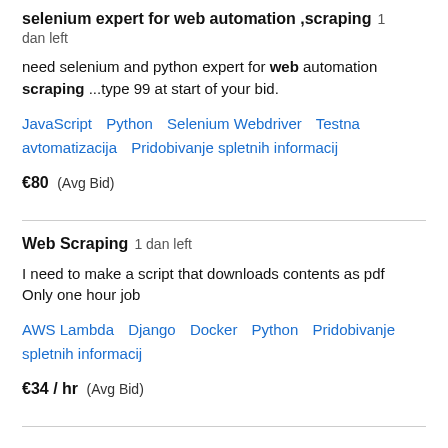selenium expert for web automation ,scraping  1 dan left
need selenium and python expert for web automation scraping ...type 99 at start of your bid.
JavaScript  Python  Selenium Webdriver  Testna avtomatizacija  Pridobivanje spletnih informacij
€80  (Avg Bid)
Web Scraping  1 dan left
I need to make a script that downloads contents as pdf Only one hour job
AWS Lambda  Django  Docker  Python  Pridobivanje spletnih informacij
€34 / hr  (Avg Bid)